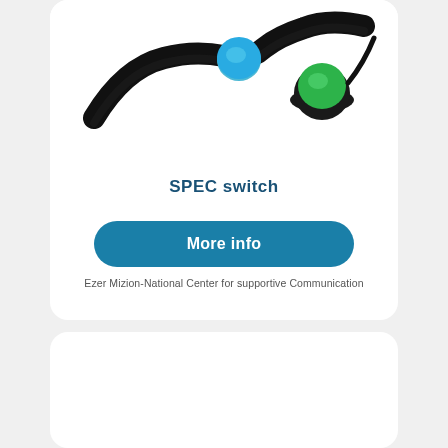[Figure (photo): Photo of a SPEC switch assistive device: a black strap/band with a blue circular button and a green circular button on a black base, with a cable.]
SPEC switch
More info
Ezer Mizion-National Center for supportive Communication